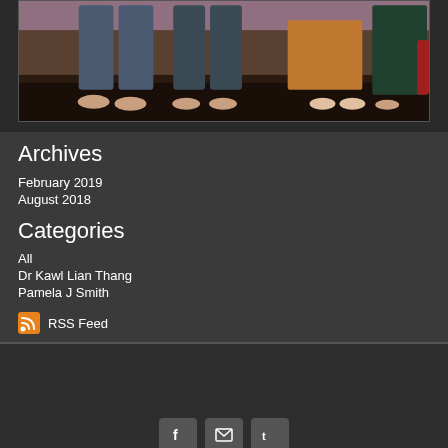[Figure (photo): Photograph showing lower bodies and feet of several people standing on a dark wooden floor, wearing various clothing including blue pants and patterned skirts]
Archives
February 2019
August 2018
Categories
All
Dr Kawl Lian Thang
Pamela J Smith
RSS Feed
Social media icons: Facebook, Twitter/other